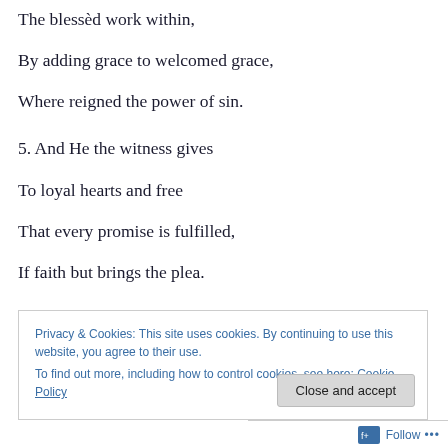The blessèd work within,
By adding grace to welcomed grace,
Where reigned the power of sin.
5. And He the witness gives
To loyal hearts and free
That every promise is fulfilled,
If faith but brings the plea.
6. All hail! atoning blood!
All hail! redeeming grace!
Privacy & Cookies: This site uses cookies. By continuing to use this website, you agree to their use.
To find out more, including how to control cookies, see here: Cookie Policy
Close and accept
Follow ...